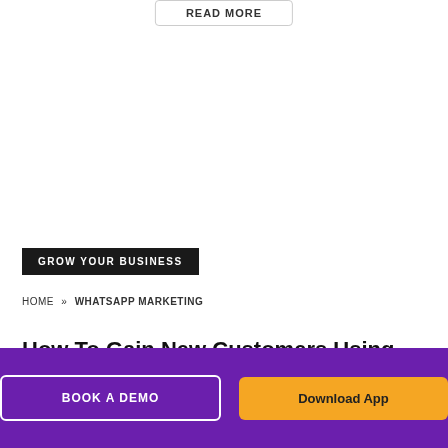READ MORE
GROW YOUR BUSINESS
HOME » WHATSAPP MARKETING
How To Gain New Customers Using Click
BOOK A DEMO
Download App